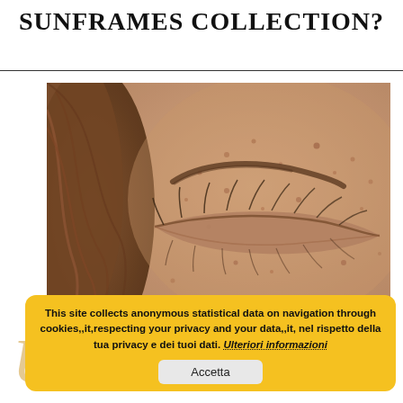SUNFRAMES COLLECTION?
[Figure (photo): Close-up photograph of a person's closed eye with freckled skin and reddish-brown hair visible on the left side.]
This site collects anonymous statistical data on navigation through cookies,,it,respecting your privacy and your data,,it, nel rispetto della tua privacy e dei tuoi dei tuoi dati. Ulteriori informazioni
Accetta
Unlike traditional moisturizers, face serums are oils composed of nutrients active. See the world with Golden eyes